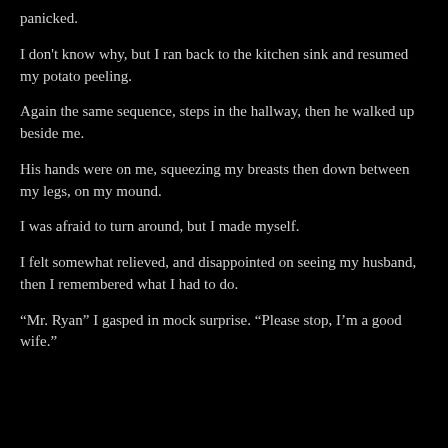panicked.
I don't know why, but I ran back to the kitchen sink and resumed my potato peeling.
Again the same sequence, steps in the hallway, then he walked up beside me.
His hands were on me, squeezing my breasts then down between my legs, on my mound.
I was afraid to turn around, but I made myself.
I felt somewhat relieved, and disappointed on seeing my husband, then I remembered what I had to do.
“Mr. Ryan” I gasped in mock surprise. “Please stop, I’m a good wife.”